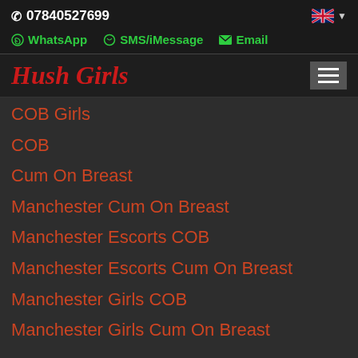07840527699
WhatsApp   SMS/iMessage   Email
Hush Girls
COB Girls
COB
Cum On Breast
Manchester Cum On Breast
Manchester Escorts COB
Manchester Escorts Cum On Breast
Manchester Girls COB
Manchester Girls Cum On Breast
COF - Cum On Face
COF Escorts